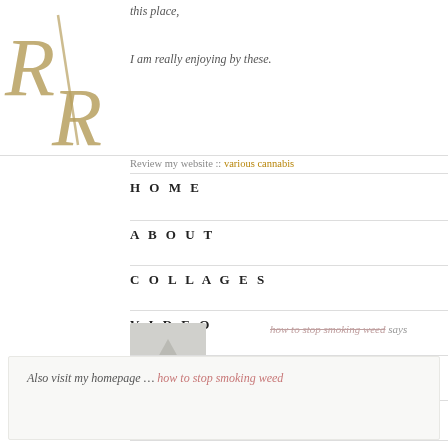[Figure (logo): Stylized R/R logo in gold serif font with diagonal slash]
this place,
I am really enjoying by these.
Review my website :: various cannabis
HOME
ABOUT
COLLAGES
VIDEO
MUSIC
SHOP
how to stop smoking weed says
October 17, 2021 at 10:47 pm
CONTACT
Great delivery. Sound arguments. Keep up the great work.
Also visit my homepage … how to stop smoking weed